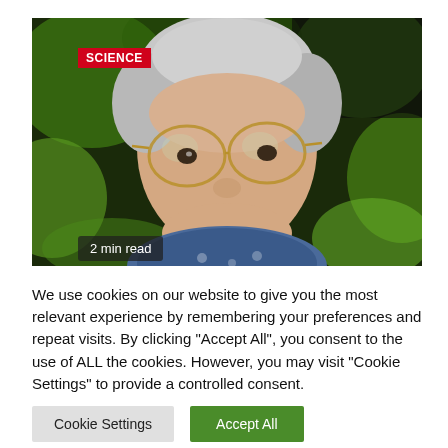[Figure (photo): Close-up portrait of an elderly woman with white/grey hair and round gold-framed glasses, smiling gently, set against a green blurred background. A red 'SCIENCE' badge appears in the upper left corner of the photo and a '2 min read' label in the lower left.]
We use cookies on our website to give you the most relevant experience by remembering your preferences and repeat visits. By clicking "Accept All", you consent to the use of ALL the cookies. However, you may visit "Cookie Settings" to provide a controlled consent.